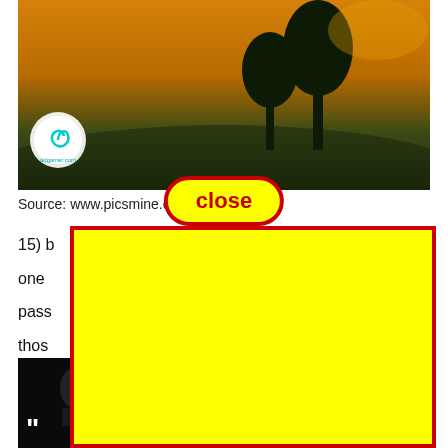[Figure (photo): Landscape photo with sunset sky (orange/amber), silhouettes of two trees on a grassy hill, dark foreground. A circular logo/watermark in lower-left corner of the image.]
close
Source: www.picsmine.c...
[Figure (other): Yellow rectangle with red border overlay (advertisement) partially covering the body text.]
15) b... y is one pass thos ith guns
[Figure (photo): Bottom image showing a dark/black background with a person and bold white text reading POWERFUL WEAPON WHICH YOU. Circular logo/badge visible on right side.]